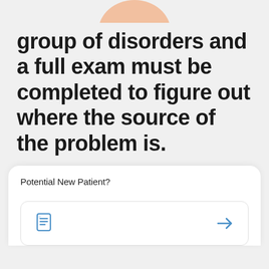[Figure (illustration): Partial image of a person's hand or skin at the top of the page, cropped]
group of disorders and a full exam must be completed to figure out where the source of the problem is.
Potential New Patient?
[Figure (other): A card UI element with a document icon on the left and a right-pointing arrow on the right]